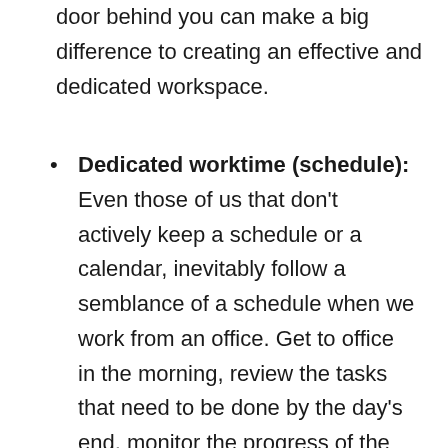door behind you can make a big difference to creating an effective and dedicated workspace.
Dedicated worktime (schedule): Even those of us that don't actively keep a schedule or a calendar, inevitably follow a semblance of a schedule when we work from an office. Get to office in the morning, review the tasks that need to be done by the day's end, monitor the progress of the tasks that need to be completed by the end of the